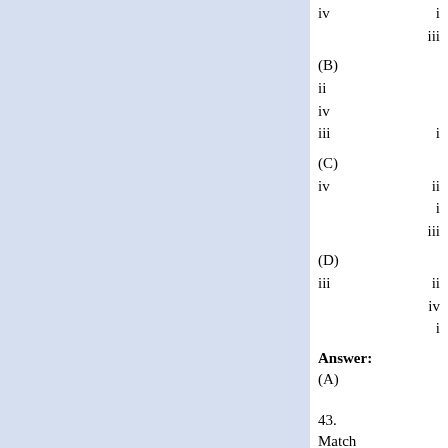(A)
iv   i
     iii
(B)
ii
iv
iii      i
(C)
iv      ii
        i
        iii
(D)
iii      ii
         iv
         i
Answer: (A)
43. Match the items in List-I